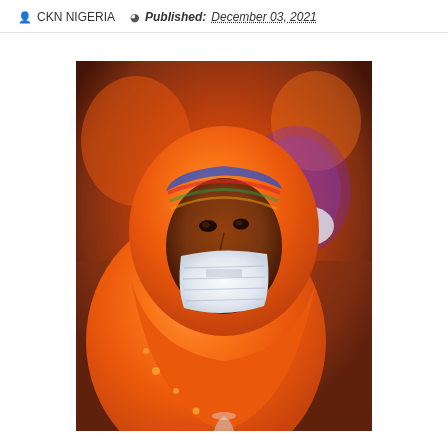CKN NIGERIA  Published: December 03, 2021
[Figure (photo): A woman wearing an orange hijab and white face mask, seated at an event. Another woman in colorful attire with a mask is visible behind her. The setting appears to be an outdoor or semi-outdoor gathering with orange decorations.]